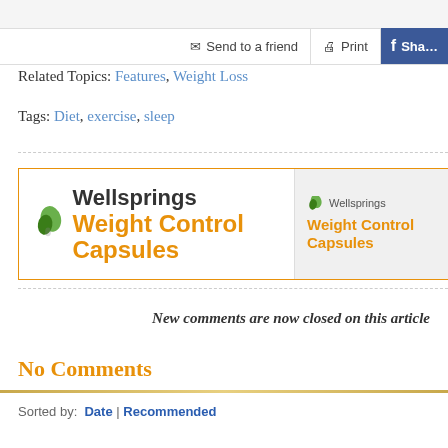Send to a friend | Print | Share
Related Topics: Features, Weight Loss
Tags: Diet, exercise, sleep
[Figure (other): Wellsprings Weight Control Capsules advertisement banner with green leaf logo]
New comments are now closed on this article
No Comments
Sorted by: Date | Recommended